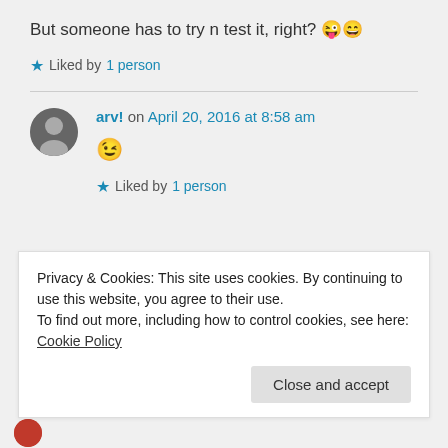But someone has to try n test it, right? 😜😄
★ Liked by 1 person
arv! on April 20, 2016 at 8:58 am
😉
★ Liked by 1 person
Privacy & Cookies: This site uses cookies. By continuing to use this website, you agree to their use.
To find out more, including how to control cookies, see here: Cookie Policy
Close and accept